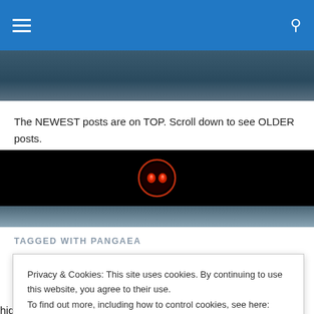Navigation bar with hamburger menu and search icon
[Figure (illustration): Dark blue/teal hero image banner at top of page]
The NEWEST posts are on TOP. Scroll down to see OLDER posts.
[Figure (logo): Black band with red glowing alien/skull logo icon centered]
TAGGED WITH PANGAEA
Privacy & Cookies: This site uses cookies. By continuing to use this website, you agree to their use. To find out more, including how to control cookies, see here: Cookie Policy
highlighted in green and important terms are highlighted in